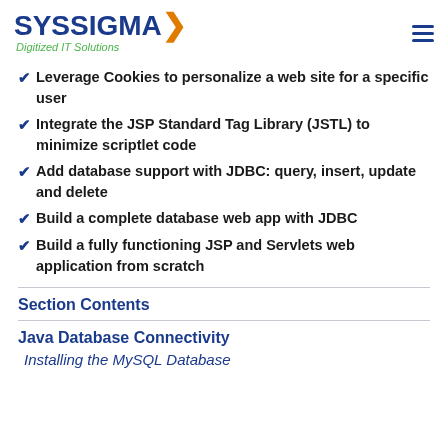SYSSIGMA Digitized IT Solutions
Leverage Cookies to personalize a web site for a specific user
Integrate the JSP Standard Tag Library (JSTL) to minimize scriptlet code
Add database support with JDBC: query, insert, update and delete
Build a complete database web app with JDBC
Build a fully functioning JSP and Servlets web application from scratch
Section Contents
Java Database Connectivity
Installing the MySQL Database